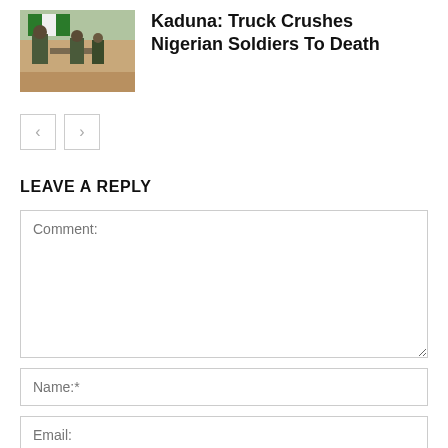[Figure (photo): Thumbnail photo of Nigerian soldiers in military uniforms outdoors with green and white flag visible in background]
Kaduna: Truck Crushes Nigerian Soldiers To Death
< navigation button
> navigation button
LEAVE A REPLY
Comment:
Name:*
Email: